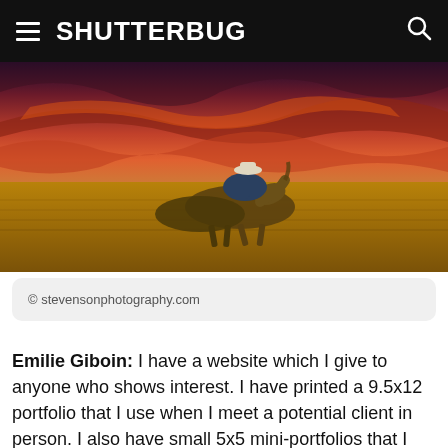SHUTTERBUG
[Figure (photo): A cowboy riding a galloping horse across a golden wheat field under a dramatic red and orange sunset sky]
© stevensonphotography.com
Emilie Giboin: I have a website which I give to anyone who shows interest. I have printed a 9.5x12 portfolio that I use when I meet a potential client in person. I also have small 5x5 mini-portfolios that I